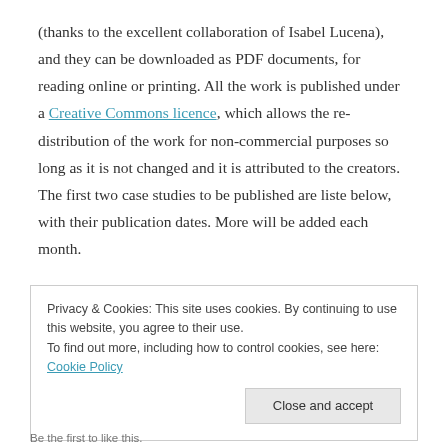(thanks to the excellent collaboration of Isabel Lucena), and they can be downloaded as PDF documents, for reading online or printing. All the work is published under a Creative Commons licence, which allows the re-distribution of the work for non-commercial purposes so long as it is not changed and it is attributed to the creators. The first two case studies to be published are liste below, with their publication dates. More will be added each month.
Privacy & Cookies: This site uses cookies. By continuing to use this website, you agree to their use. To find out more, including how to control cookies, see here: Cookie Policy
Close and accept
Be the first to like this.